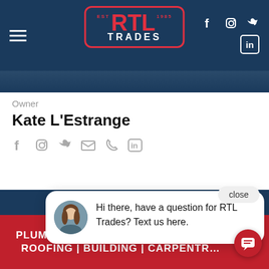[Figure (screenshot): RTL Trades website screenshot showing navigation bar with logo, hamburger menu, social icons, a profile card for Kate L'Estrange (Owner) with social contact icons, a chat popup bubble, and a red footer banner listing services.]
RTL TRADES
Owner
Kate L'Estrange
Hi there, have a question for RTL Trades? Text us here.
PLUMBING | ELECTRICAL | HANDYMAN ROOFING | BUILDING | CARPENTRY